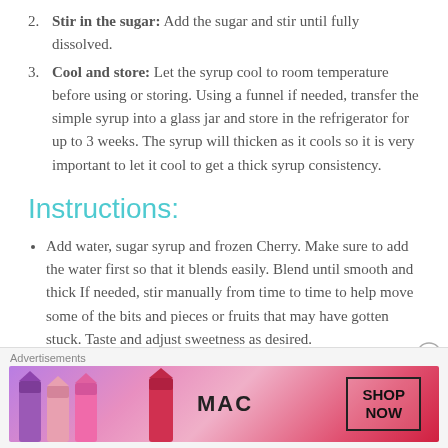2. Stir in the sugar: Add the sugar and stir until fully dissolved.
3. Cool and store: Let the syrup cool to room temperature before using or storing. Using a funnel if needed, transfer the simple syrup into a glass jar and store in the refrigerator for up to 3 weeks. The syrup will thicken as it cools so it is very important to let it cool to get a thick syrup consistency.
Instructions:
Add water, sugar syrup and frozen Cherry. Make sure to add the water first so that it blends easily. Blend until smooth and thick If needed, stir manually from time to time to help move some of the bits and pieces or fruits that may have gotten stuck. Taste and adjust sweetness as desired.
Transfer in a serving glass and garnish with toppings of your choice.
[Figure (infographic): Advertisement banner for MAC cosmetics showing lipsticks and a SHOP NOW button]